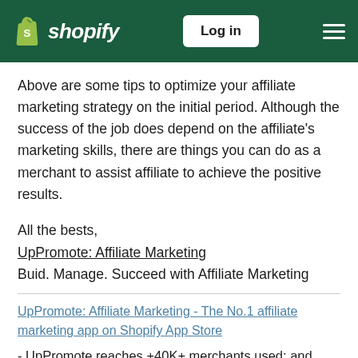shopify  Log in
Above are some tips to optimize your affiliate marketing strategy on the initial period. Although the success of the job does depend on the affiliate's marketing skills, there are things you can do as a merchant to assist affiliate to achieve the positive results.
All the bests,
UpPromote: Affiliate Marketing
Buid. Manage. Succeed with Affiliate Marketing
UpPromote: Affiliate Marketing - The No.1 affiliate marketing app on Shopify App Store
- UpPromote reaches +40K+ merchants used; and